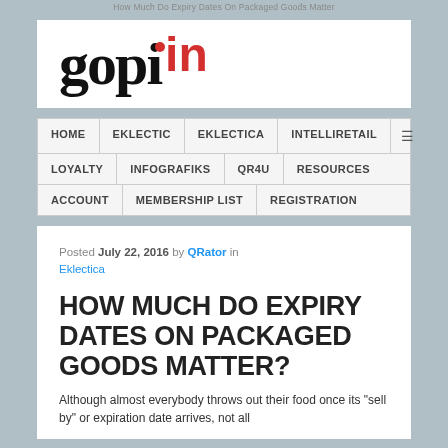How Much Do Expiry Dates On Packaged Goods Matter
[Figure (logo): gopi.in website logo — stylized text 'gopi' in black serif with red dot and red 'in' superscript]
HOME | EKLECTIC | EKLECTICA | INTELLIRETAIL | LOYALTY | INFOGRAFIKS | QR4U | RESOURCES | ACCOUNT | MEMBERSHIP LIST | REGISTRATION
Posted July 22, 2016 by QRator in Eklectica
HOW MUCH DO EXPIRY DATES ON PACKAGED GOODS MATTER?
Although almost everybody throws out their food once its "sell by" or expiration date arrives, not all